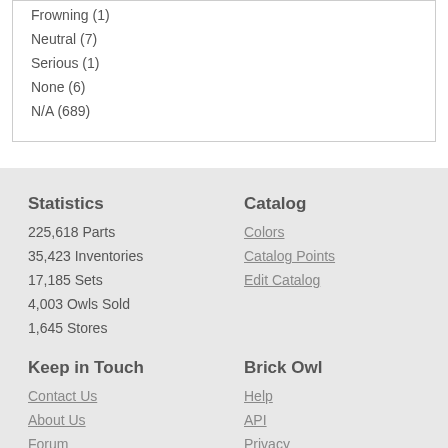Frowning (1)
Neutral (7)
Serious (1)
None (6)
N/A (689)
Statistics
225,618 Parts
35,423 Inventories
17,185 Sets
4,003 Owls Sold
1,645 Stores
Catalog
Colors
Catalog Points
Edit Catalog
Keep in Touch
Contact Us
About Us
Forum
Brick Owl
Help
API
Privacy
Terms